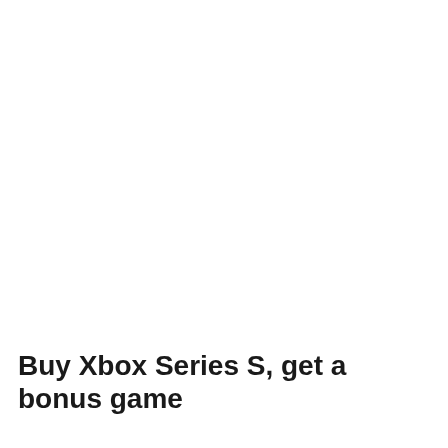Buy Xbox Series S, get a bonus game